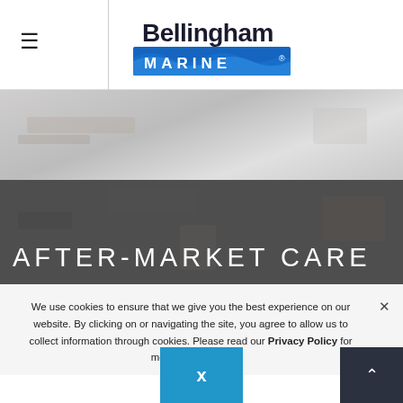Bellingham Marine
[Figure (photo): Marina/dock aerial photo with boats, shown in two sections: lighter top portion and darker bottom portion with overlay]
AFTER-MARKET CARE
We use cookies to ensure that we give you the best experience on our website. By clicking on or navigating the site, you agree to allow us to collect information through cookies. Please read our Privacy Policy for more information.